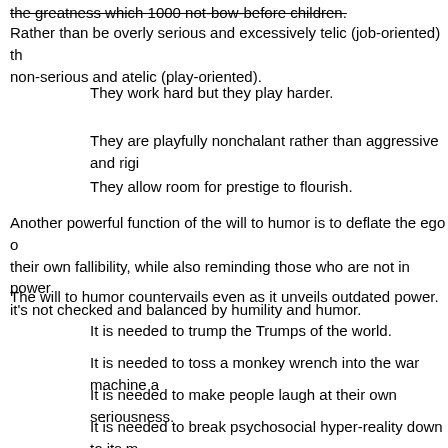the greatness which 1000 not-bow-before children.
Rather than be overly serious and excessively telic (job-oriented) they are non-serious and atelic (play-oriented).
They work hard but they play harder.
They are playfully nonchalant rather than aggressive and rigi…
They allow room for prestige to flourish.
Another powerful function of the will to humor is to deflate the ego of their own fallibility, while also reminding those who are not in power it's not checked and balanced by humility and humor.
The will to humor countervails even as it unveils outdated power.
It is needed to trump the Trumps of the world.
It is needed to toss a monkey wrench into the war machine a…
It is needed to make people laugh at their own seriousness.
It is needed to break psychosocial hyper-reality down to its m… build it back up into the healthy and healing light of cocreatio…
At the end of the day, the will to power is an amazing pursuit but fo…